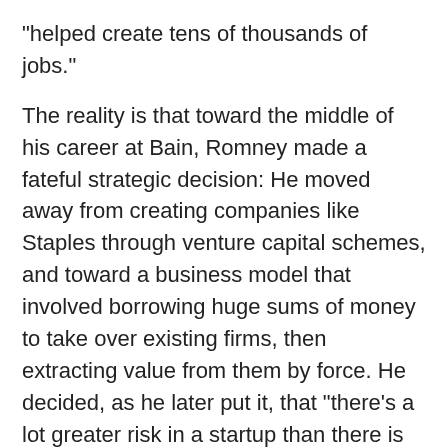"helped create tens of thousands of jobs."
The reality is that toward the middle of his career at Bain, Romney made a fateful strategic decision: He moved away from creating companies like Staples through venture capital schemes, and toward a business model that involved borrowing huge sums of money to take over existing firms, then extracting value from them by force. He decided, as he later put it, that "there's a lot greater risk in a startup than there is in acquiring an existing company." In the Eighties, when Romney made this move, this form of financial piracy became known as a leveraged buyout, and it achieved iconic status thanks to Gordon Gekko in Wall Street. Gekko's business strategy was essentially identical to the Romney–Bain model, only Gekko called himself a "liberator" of companies instead of